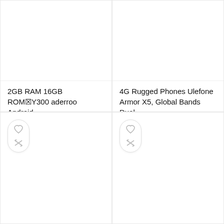2GB RAM 16GB ROM☒Y300 aderroo Android...
$63.33
4G Rugged Phones Ulefone Armor X5, Global Bands Dual...
$149.99
[Figure (other): Product card with heart and compare icons, bottom-left card]
[Figure (other): Product card with heart and compare icons, bottom-right card]